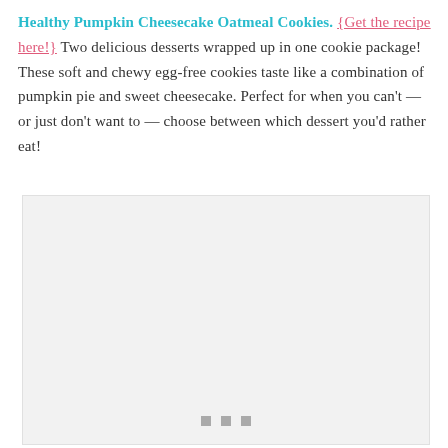Healthy Pumpkin Cheesecake Oatmeal Cookies. {Get the recipe here!} Two delicious desserts wrapped up in one cookie package! These soft and chewy egg-free cookies taste like a combination of pumpkin pie and sweet cheesecake. Perfect for when you can't — or just don't want to — choose between which dessert you'd rather eat!
[Figure (photo): Placeholder image area with three small gray squares at the bottom center, indicating an image of the pumpkin cheesecake oatmeal cookies]